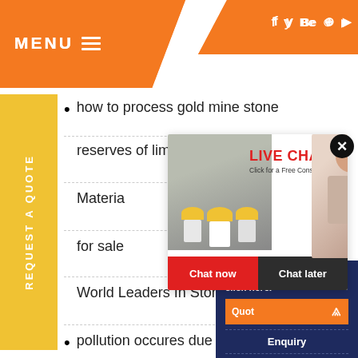MENU ☰  |  f  y  Be  ⊙  ▶
how to process gold mine stone
reserves of limestone in pakistan
Materia
for sale
World Leaders In Stone Grinding M
pollution occures due to ball mill g
[Figure (screenshot): Live Chat popup with construction workers photo on left, female agent with headset on right, LIVE CHAT title in red, 'Click for a Free Consultation' text, 'Chat now' red button and 'Chat later' dark button]
[Figure (screenshot): Right sidebar panel with dark blue background showing 'Have any requests, click here.' text, orange Quote button with up arrows, Enquiry link, and drobilkalm text]